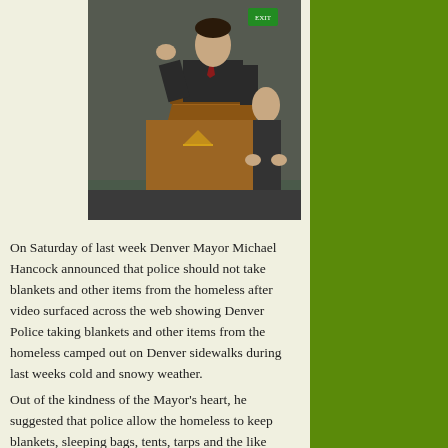[Figure (photo): A man in a dark suit standing at a wooden lectern/podium, apparently speaking at a press conference or official event. Another person is partially visible in the background.]
On Saturday of last week Denver Mayor Michael Hancock announced that police should not take blankets and other items from the homeless after video surfaced across the web showing Denver Police taking blankets and other items from the homeless camped out on Denver sidewalks during last weeks cold and snowy weather.
Out of the kindness of the Mayor's heart, he suggested that police allow the homeless to keep blankets, sleeping bags, tents, tarps and the like during the